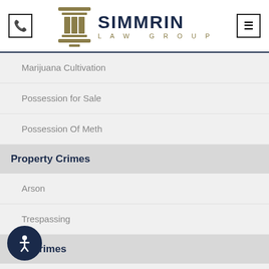[Figure (logo): Simmrin Law Group logo with pillar icon]
Marijuana Cultivation
Possession for Sale
Possession Of Meth
Property Crimes
Arson
Trespassing
Sex Crimes
Child Molestation